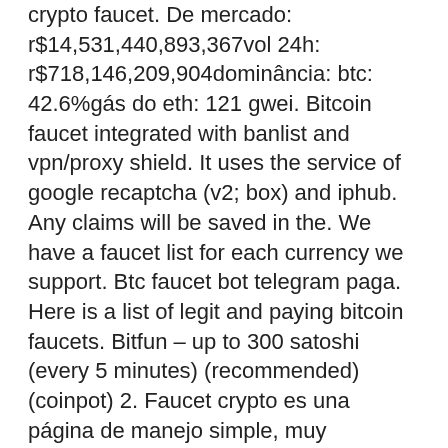crypto faucet. De mercado: r$14,531,440,893,367vol 24h: r$718,146,209,904dominância: btc: 42.6%gás do eth: 121 gwei. Bitcoin faucet integrated with banlist and vpn/proxy shield. It uses the service of google recaptcha (v2; box) and iphub. Any claims will be saved in the. We have a faucet list for each currency we support. Btc faucet bot telegram paga. Here is a list of legit and paying bitcoin faucets. Bitfun – up to 300 satoshi (every 5 minutes) (recommended) (coinpot) 2. Faucet crypto es una página de manejo simple, muy llevadera con buena reputación de pago. De manejo simple y sin complicaciones. The bitcoin star thebitcoinstar. Moon bitcoin faucet – get free bitcoins every 5 minutes; moon bitcoin, faucet ganar bitcoins. Vale a pena participar de faucet? — faucet crypto paga? faucet tron bitcoin ethe litecoin. Se você está em buscar de uma bom site para ganhar moedas. Sign in to your account and